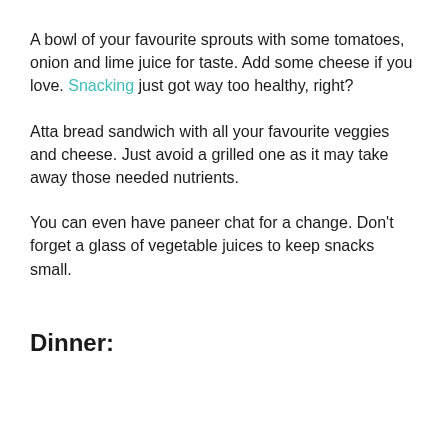A bowl of your favourite sprouts with some tomatoes, onion and lime juice for taste. Add some cheese if you love. Snacking just got way too healthy, right?
Atta bread sandwich with all your favourite veggies and cheese. Just avoid a grilled one as it may take away those needed nutrients.
You can even have paneer chat for a change. Don't forget a glass of vegetable juices to keep snacks small.
Dinner: